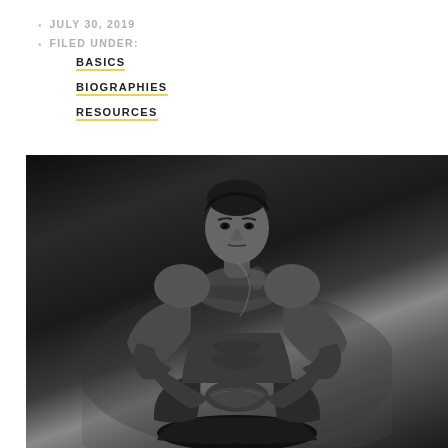JULY 30, 2019
FILED UNDER:
BASICS
BIOGRAPHIES
RESOURCES
[Figure (photo): Black and white dramatic photo of a muscular male bodybuilder sitting in a crouched/squatting pose with hands clasped together, photographed against a dark smoky background. The subject is shirtless and looking directly at the camera with a serious expression.]